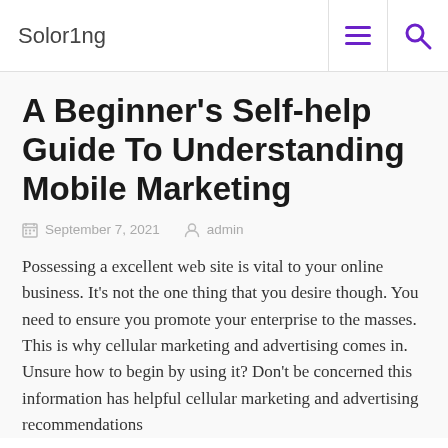Solor1ng
A Beginner's Self-help Guide To Understanding Mobile Marketing
September 7, 2021   admin
Possessing a excellent web site is vital to your online business. It's not the one thing that you desire though. You need to ensure you promote your enterprise to the masses. This is why cellular marketing and advertising comes in. Unsure how to begin by using it? Don't be concerned this information has helpful cellular marketing and advertising recommendations